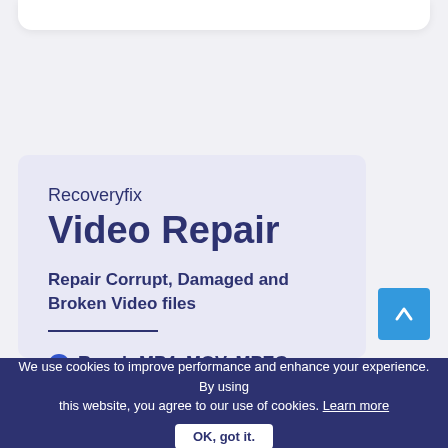[Figure (screenshot): Top portion of a white rounded card, partially visible at top of page]
Recoveryfix Video Repair
Repair Corrupt, Damaged and Broken Video files
Repair MP4, MOV, MPEG, MIPEG,
[Figure (other): Blue scroll-to-top button with upward arrow]
We use cookies to improve performance and enhance your experience. By using this website, you agree to our use of cookies. Learn more
OK, got it.